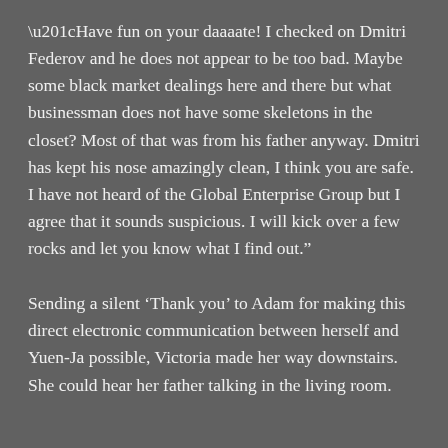“Have fun on your daaaate!  I checked on Dmitri Federov and he does not appear to be too bad.  Maybe some black market dealings here and there but what businessman does not have some skeletons in the closet?  Most of that was from his father anyway.  Dmitri has kept his nose amazingly clean, I think you are safe.  I have not heard of the Global Enterprise Group but I agree that it sounds suspicious.  I will kick over a few rocks and let you know what I find out.”
Sending a silent ‘Thank you’ to Adam for making this direct electronic communication between herself and Yuen-Ja possible, Victoria made her way downstairs.  She could hear her father talking in the living room.